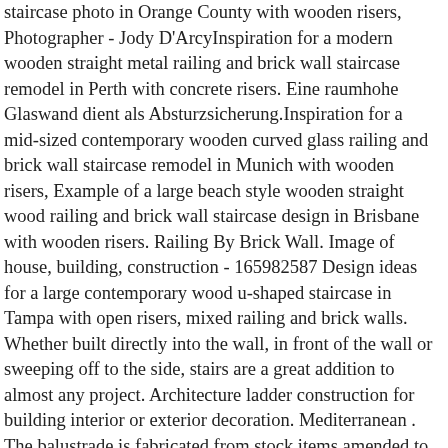staircase photo in Orange County with wooden risers, Photographer - Jody D'ArcyInspiration for a modern wooden straight metal railing and brick wall staircase remodel in Perth with concrete risers. Eine raumhohe Glaswand dient als Absturzsicherung.Inspiration for a mid-sized contemporary wooden curved glass railing and brick wall staircase remodel in Munich with wooden risers, Example of a large beach style wooden straight wood railing and brick wall staircase design in Brisbane with wooden risers. Railing By Brick Wall. Image of house, building, construction - 165982587 Design ideas for a large contemporary wood u-shaped staircase in Tampa with open risers, mixed railing and brick walls. Whether built directly into the wall, in front of the wall or sweeping off to the side, stairs are a great addition to almost any project. Architecture ladder construction for building interior or exterior decoration. Mediterranean . The balustrade is fabricated from stock items amended to suit the clients desired look. House wall, Venice, brickwork, brick, lantern, window, Italy. Image of entrance, metal, structure - 165982598 Similar Images . stairs with brick wall - Contemporary - Staircase - Chicago Mauerabdekckung mit eingefrÔ¤sten LED-Band. Explore the beautiful staircase with